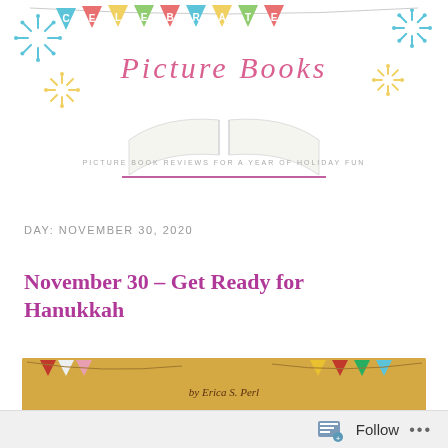[Figure (illustration): Celebrate Picture Books blog header with colorful bunting flags spelling CELEBRATE, pink cursive script title 'Picture Books', open book illustration, fireworks decorations, and subtitle 'PICTURE BOOK REVIEWS FOR A YEAR OF HOLIDAY FUN']
DAY: NOVEMBER 30, 2020
November 30 – Get Ready for Hanukkah
[Figure (photo): Book cover showing 'The Ninth Night' by Erica S. Perl, with colorful bunting flags on a golden/yellow background]
Follow ...